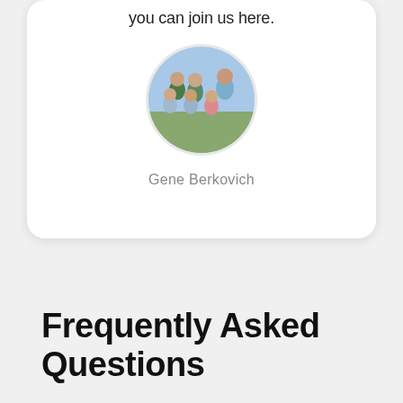you can join us here.
[Figure (photo): Circular profile photo of Gene Berkovich showing a family group photo with adults and children]
Gene Berkovich
Frequently Asked Questions